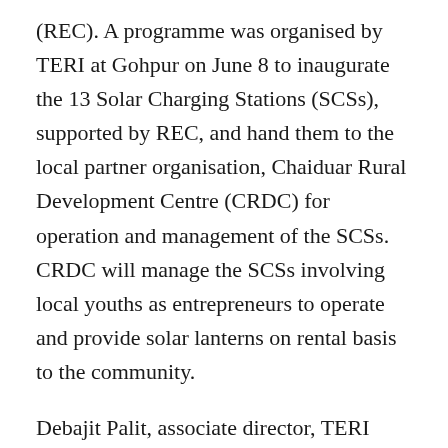(REC). A programme was organised by TERI at Gohpur on June 8 to inaugurate the 13 Solar Charging Stations (SCSs), supported by REC, and hand them to the local partner organisation, Chaiduar Rural Development Centre (CRDC) for operation and management of the SCSs. CRDC will manage the SCSs involving local youths as entrepreneurs to operate and provide solar lanterns on rental basis to the community.
Debajit Palit, associate director, TERI who heads the Lighting a Billion Lives programme, said that TERI has initiated the programme in 2008 to provide clean lighting services, using the fee for service model, and expects to cover the unelectrified or poorly electrified areas in the country during the next five years.